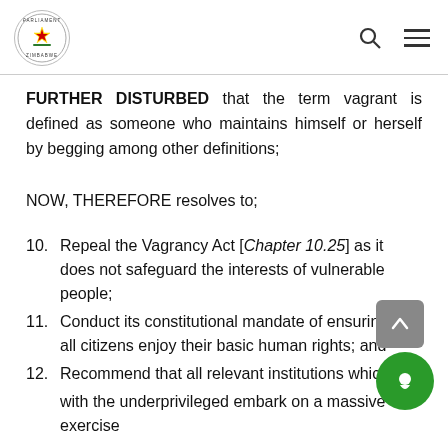Parliament of Zimbabwe
FURTHER DISTURBED that the term vagrant is defined as someone who maintains himself or herself by begging among other definitions;
NOW, THEREFORE resolves to;
10. Repeal the Vagrancy Act [Chapter 10.25] as it does not safeguard the interests of vulnerable people;
11. Conduct its constitutional mandate of ensuring that all citizens enjoy their basic human rights; and
12. Recommend that all relevant institutions which deal with the underprivileged embark on a massive exercise